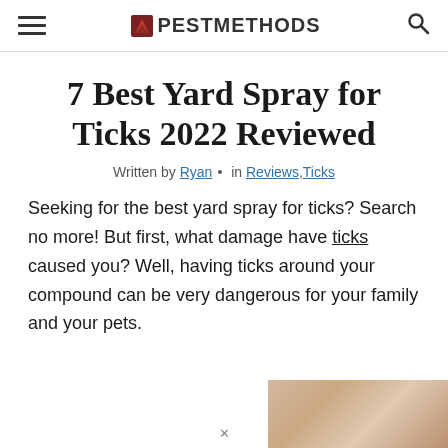PESTMETHODS
7 Best Yard Spray for Ticks 2022 Reviewed
Written by Ryan • in Reviews, Ticks
Seeking for the best yard spray for ticks? Search no more! But first, what damage have ticks caused you? Well, having ticks around your compound can be very dangerous for your family and your pets.
[Figure (photo): Partial photo of a tick or animal fur, cropped at bottom right corner of page]